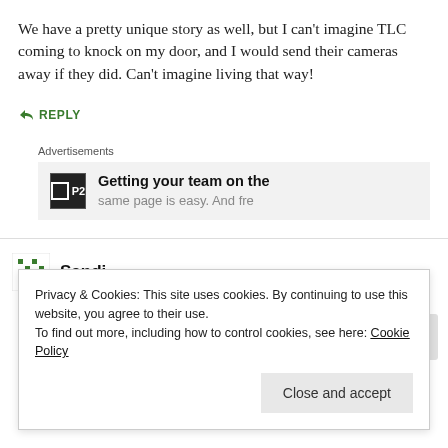We have a pretty unique story as well, but I can't imagine TLC coming to knock on my door, and I would send their cameras away if they did. Can't imagine living that way!
↳ REPLY
Advertisements
[Figure (other): Advertisement banner: P2 logo with text 'Getting your team on the same page is easy. And free']
Sandi
MARCH 19, 2010 AT 11:47 AM
Privacy & Cookies: This site uses cookies. By continuing to use this website, you agree to their use.
To find out more, including how to control cookies, see here: Cookie Policy
Close and accept